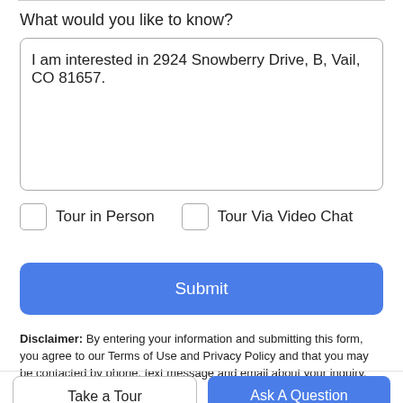What would you like to know?
I am interested in 2924 Snowberry Drive, B, Vail, CO 81657.
Tour in Person
Tour Via Video Chat
Submit
Disclaimer: By entering your information and submitting this form, you agree to our Terms of Use and Privacy Policy and that you may be contacted by phone, text message and email about your inquiry.
Take a Tour
Ask A Question